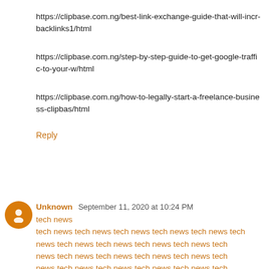https://clipbase.com.ng/best-link-exchange-guide-that-will-incr-backlinks1/html
https://clipbase.com.ng/step-by-step-guide-to-get-google-traffic-to-your-w/html
https://clipbase.com.ng/how-to-legally-start-a-freelance-business-clipbas/html
Reply
Unknown  September 11, 2020 at 10:24 PM
tech news tech newstech newstech newstech newstech newstech newstech newstech newstech newstech newstech newstech newstech newstech newstech newstech newstech newstech newstech newstech newstech newstech newstech newstech newstech newstech newstech news